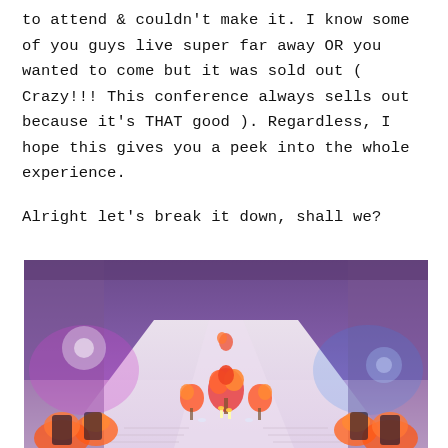to attend & couldn't make it. I know some of you guys live super far away OR you wanted to come but it was sold out ( Crazy!!! This conference always sells out because it's THAT good ). Regardless, I hope this gives you a peek into the whole experience.
Alright let's break it down, shall we?
[Figure (photo): A long banquet table with white tablecloth, orange floral centerpieces and place settings, illuminated with purple/violet ambient lighting in a large hall. Dark wooden cross-back chairs line both sides. The perspective is down the center of the long table.]